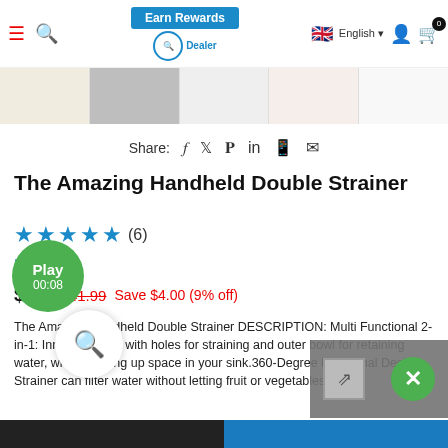Earn Rewards | Logo | English | User | Cart (0)
[Figure (photo): Row of product thumbnail images for the handheld double strainer]
Share:
The Amazing Handheld Double Strainer
★★★★★ (6)
In stock
$37.99  $41.99  Save $4.00 (9% off)
The Amazing Handheld Double Strainer DESCRIPTION: Multi Functional 2-in-1: Inner colander with holes for straining and outer bowl for retaining water, without taking up space in your sink.360-Degree Rotational Design: Strainer can filter water without letting fruit or vegetables fall....
Read more
COLOR: YELLOW